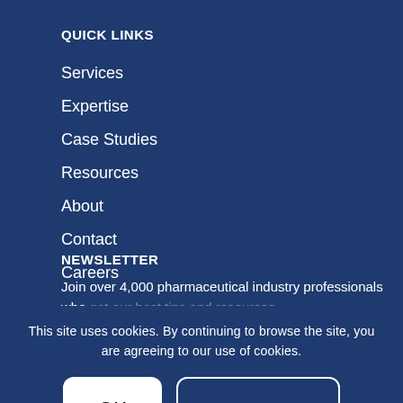QUICK LINKS
Services
Expertise
Case Studies
Resources
About
Contact
Careers
NEWSLETTER
Join over 4,000 pharmaceutical industry professionals who get our best tips and resources.
This site uses cookies. By continuing to browse the site, you are agreeing to our use of cookies.